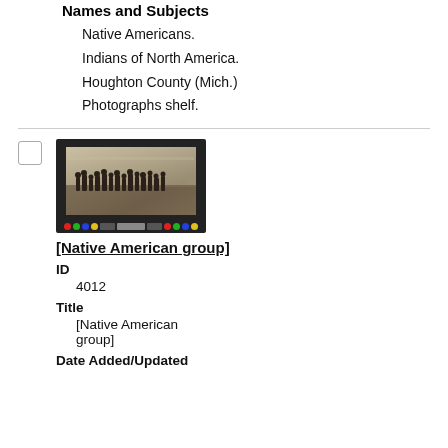Names and Subjects
Native Americans.
Indians of North America.
Houghton County (Mich.)
Photographs shelf.
[Figure (photo): Black and white photograph of a group of Native Americans, mounted on dark card with a color calibration bar at the bottom.]
[Native American group]
ID
4012
Title
[Native American group]
Date Added/Updated